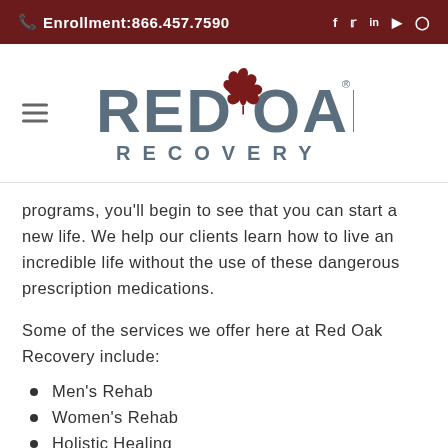Enrollment:866.457.7590
[Figure (logo): Red Oak Recovery logo with red maple leaf between RED and OAK text, RECOVERY spelled below]
programs, you'll begin to see that you can start a new life. We help our clients learn how to live an incredible life without the use of these dangerous prescription medications.
Some of the services we offer here at Red Oak Recovery include:
Men's Rehab
Women's Rehab
Holistic Healing